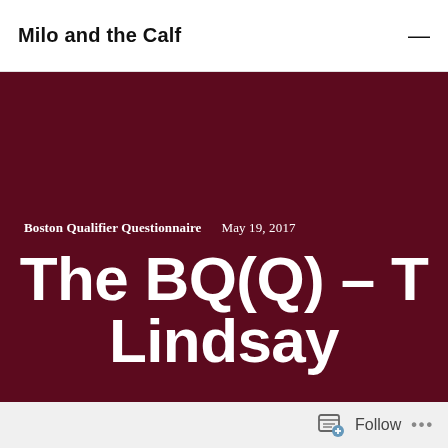Milo and the Calf
Boston Qualifier Questionnaire   May 19, 2017
The BQ(Q) – T Lindsay
Follow ...